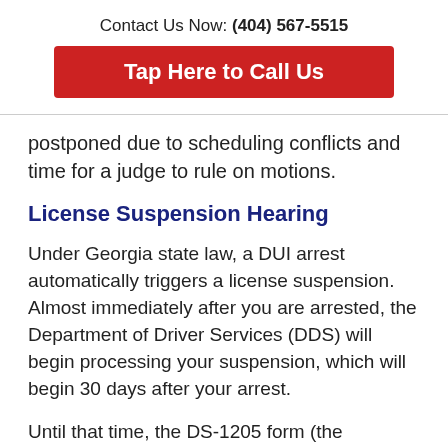Contact Us Now: (404) 567-5515
Tap Here to Call Us
postponed due to scheduling conflicts and time for a judge to rule on motions.
License Suspension Hearing
Under Georgia state law, a DUI arrest automatically triggers a license suspension. Almost immediately after you are arrested, the Department of Driver Services (DDS) will begin processing your suspension, which will begin 30 days after your arrest.
Until that time, the DS-1205 form (the document you should have received when you